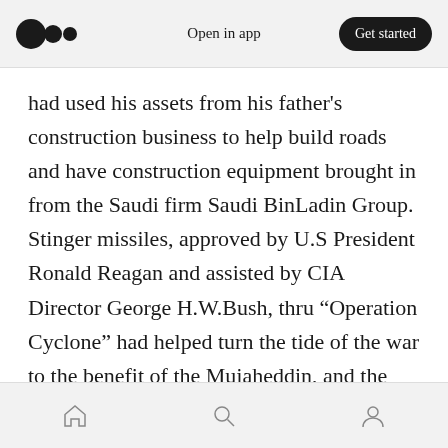Open in app | Get started
had used his assets from his father's construction business to help build roads and have construction equipment brought in from the Saudi firm Saudi BinLadin Group. Stinger missiles, approved by U.S President Ronald Reagan and assisted by CIA Director George H.W.Bush, thru “Operation Cyclone” had helped turn the tide of the war to the benefit of the Mujaheddin, and the CIA was the primary benefactor. The CIA had also began funneling money to the Mujaheddin recruitment offices (Maktab al-Khidamat) inside the United States in
Home | Search | Profile